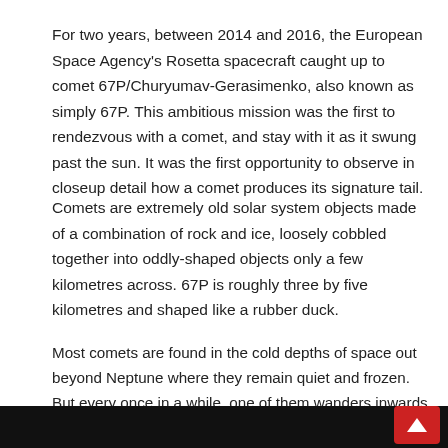For two years, between 2014 and 2016, the European Space Agency's Rosetta spacecraft caught up to comet 67P/Churyumav-Gerasimenko, also known as simply 67P. This ambitious mission was the first to rendezvous with a comet, and stay with it as it swung past the sun. It was the first opportunity to observe in closeup detail how a comet produces its signature tail.
Comets are extremely old solar system objects made of a combination of rock and ice, loosely cobbled together into oddly-shaped objects only a few kilometres across. 67P is roughly three by five kilometres and shaped like a rubber duck.
Most comets are found in the cold depths of space out beyond Neptune where they remain quiet and frozen. But every once in a while, one of them wanders inwards toward the sun. As it approaches the inner solar system, the heat of the sun vaporizes its ice, and water vapour and dust rise off the surface to form the long beautiful tails we occasionally see draped across our skies on Earth.
[Figure (other): Black bar at the bottom of the page with a red scroll-to-top button]